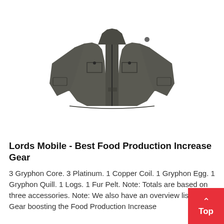[Figure (photo): A dark grey/olive tactical softshell jacket displayed on an invisible mannequin, front view, with zip chest pockets and arm pockets.]
Lords Mobile - Best Food Production Increase Gear
3 Gryphon Core. 3 Platinum. 1 Copper Coil. 1 Gryphon Egg. 1 Gryphon Quill. 1 Logs. 1 Fur Pelt. Note: Totals are based on three accessories. Note: We also have an overview listing All Gear boosting the Food Production Increase